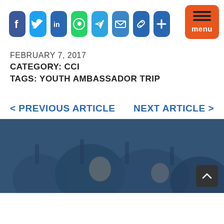[Figure (infographic): Social media share buttons: Facebook, Twitter, LinkedIn, WhatsApp, Telegram, Email, Link, Plus. Orange menu button top right.]
FEBRUARY 7, 2017
CATEGORY: CCI
TAGS: YOUTH AMBASSADOR TRIP
< PREVIOUS ARTICLE    NEXT ARTICLE >
[Figure (photo): Background photo showing group of young people with hands raised, blue toned overlay]